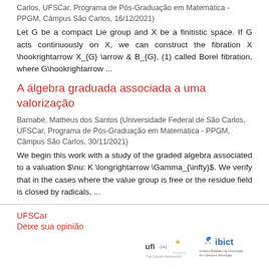Carlos, UFSCar, Programa de Pós-Graduação em Matemática - PPGM, Câmpus São Carlos, 16/12/2021)
Let G be a compact Lie group and X be a finitistic space. If G acts continuously on X, we can construct the fibration X \hookrightarrow X_{G} \arrow & B_{G}, (1) called Borel fibration, where G\hookrightarrow ...
A álgebra graduada associada a uma valorização
Barnabé, Matheus dos Santos (Universidade Federal de São Carlos, UFSCar, Programa de Pós-Graduação em Matemática - PPGM, Câmpus São Carlos, 30/11/2021)
We begin this work with a study of the graded algebra associated to a valuation $\nu: K \longrightarrow \Gamma_{\infty}$. We verify that in the cases where the value group is free or the residue field is closed by radicals, ...
Ver mais
UFSCar
Deixe sua opinião